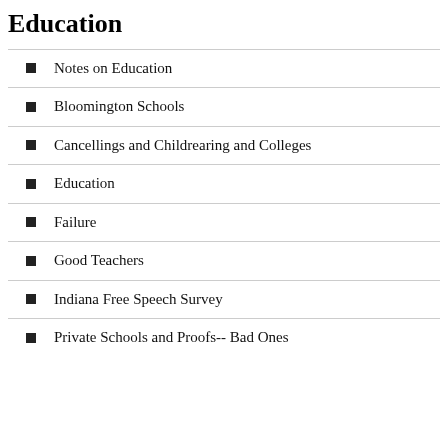Education
Notes on Education
Bloomington Schools
Cancellings and Childrearing and Colleges
Education
Failure
Good Teachers
Indiana Free Speech Survey
Private Schools and Proofs-- Bad Ones